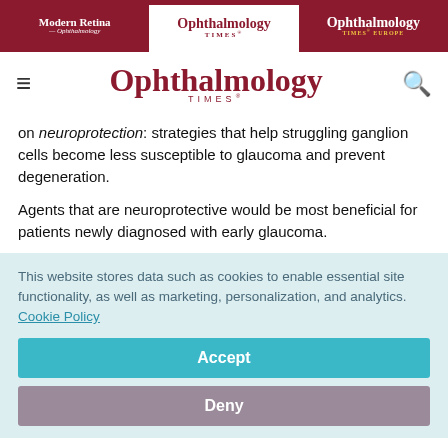Modern Retina | Ophthalmology Times | Ophthalmology Times Europe
[Figure (logo): Ophthalmology Times main site logo with hamburger menu and search icon]
on neuroprotection: strategies that help struggling ganglion cells become less susceptible to glaucoma and prevent degeneration.
Agents that are neuroprotective would be most beneficial for patients newly diagnosed with early glaucoma.
This website stores data such as cookies to enable essential site functionality, as well as marketing, personalization, and analytics. Cookie Policy
Accept
Deny